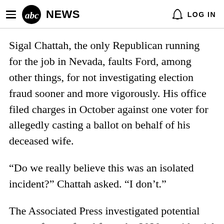abc NEWS  LOG IN
Sigal Chattah, the only Republican running for the job in Nevada, faults Ford, among other things, for not investigating election fraud sooner and more vigorously. His office filed charges in October against one voter for allegedly casting a ballot on behalf of his deceased wife.
“Do we really believe this was an isolated incident?” Chattah asked. “I don’t.”
The Associated Press investigated potential cases of voter fraud from the 2020 presidential election in Nevada and the five other political battleground states…